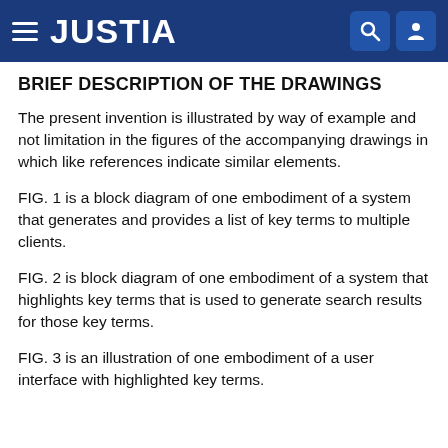JUSTIA
BRIEF DESCRIPTION OF THE DRAWINGS
The present invention is illustrated by way of example and not limitation in the figures of the accompanying drawings in which like references indicate similar elements.
FIG. 1 is a block diagram of one embodiment of a system that generates and provides a list of key terms to multiple clients.
FIG. 2 is block diagram of one embodiment of a system that highlights key terms that is used to generate search results for those key terms.
FIG. 3 is an illustration of one embodiment of a user interface with highlighted key terms.